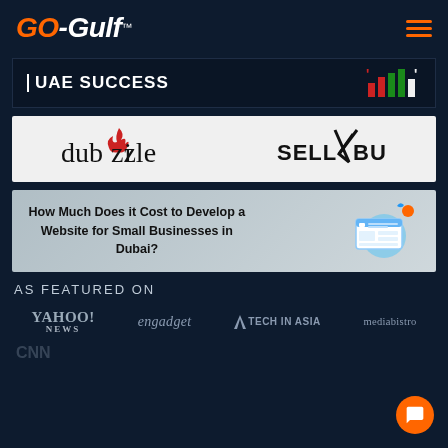[Figure (logo): GO-Gulf logo with orange GO and white -Gulf text, hamburger menu icon in orange]
[Figure (logo): UAE SUCCESS banner with bar chart icon in red and green]
[Figure (logo): dubizzle and SELL/BUY partner logos on white background]
How Much Does it Cost to Develop a Website for Small Businesses in Dubai?
AS FEATURED ON
[Figure (logo): Media logos: YAHOO! NEWS, engadget, TECH IN ASIA, mediabistro, CNN (partial)]